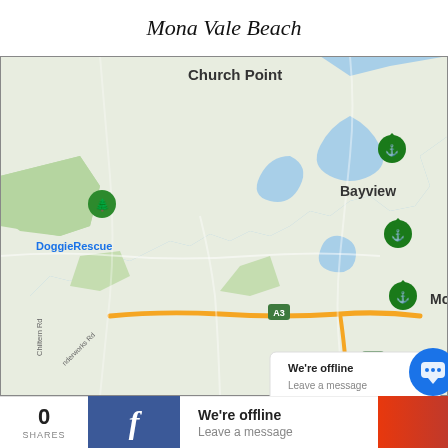Mona Vale Beach
[Figure (map): Google Maps screenshot showing the area around Mona Vale Beach, Sydney, Australia, including Church Point, Bilgola Plateau, Newport Beach, Newport, Bayview, Bungan Beach, DoggieRescue, Mona Vale, Warriewood Beach, with road markers A3 and A8, Barrenjoey Rd, Chiltern Rd, Wonderworks Rd, and map pins for Newport Beach, Bungan Beach, and Mona Vale Beach.]
We're offline
Leave a message
0 SHARES